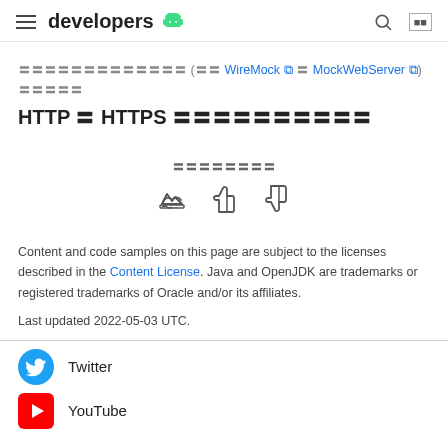developers
〓〓〓〓〓〓〓〓〓〓〓〓〓 (〓〓 WireMock 〓 MockWebServer 〓) 〓〓〓〓〓 HTTP 〓 HTTPS 〓〓〓〓〓〓〓〓〓〓
〓〓〓〓〓〓〓〓
Content and code samples on this page are subject to the licenses described in the Content License. Java and OpenJDK are trademarks or registered trademarks of Oracle and/or its affiliates.
Last updated 2022-05-03 UTC.
Twitter
YouTube